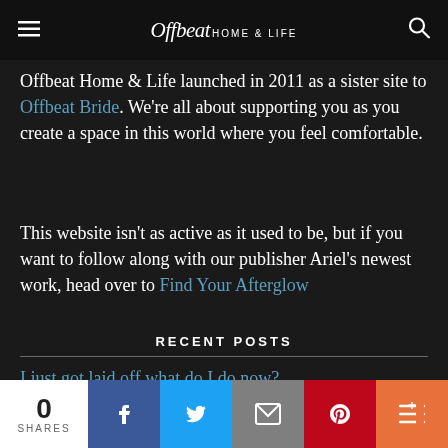Offbeat Home & Life
Offbeat Home & Life launched in 2011 as a sister site to Offbeat Bride. We're all about supporting you as you create a space in this world where you feel comfortable.
This website isn't as active as it used to be, but if you want to follow along with our publisher Ariel's newest work, head over to Find Your Afterglow
RECENT POSTS
I just got laid off what do I do now?
Keep your fur babies close to you forever with pet
0 SHARES | Facebook | Twitter | Email | Pinterest | More